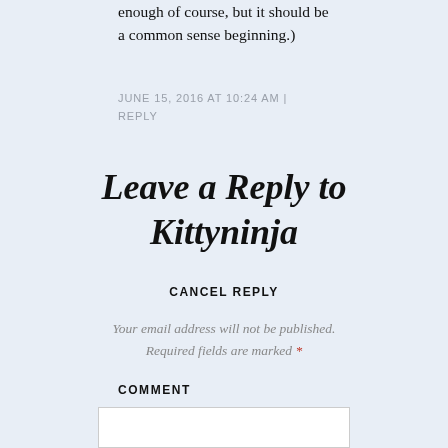enough of course, but it should be a common sense beginning.)
JUNE 15, 2016 AT 10:24 AM | REPLY
Leave a Reply to Kittyninja
CANCEL REPLY
Your email address will not be published. Required fields are marked *
COMMENT